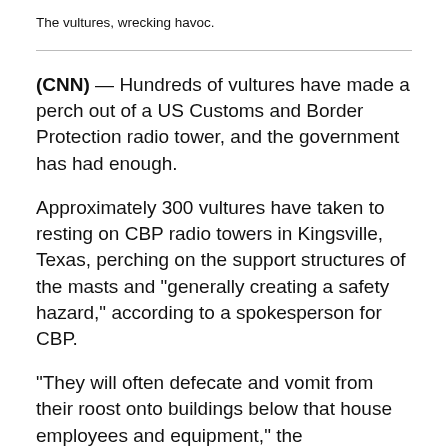The vultures, wrecking havoc.
(CNN) — Hundreds of vultures have made a perch out of a US Customs and Border Protection radio tower, and the government has had enough.
Approximately 300 vultures have taken to resting on CBP radio towers in Kingsville, Texas, perching on the support structures of the masts and “generally creating a safety hazard,” according to a spokesperson for CBP.
“They will often defecate and vomit from their roost onto buildings below that house employees and equipment,” the spokesperson said. “There are anecdotes about birds dropping prey from a height of three-hundred feet, creating a terrifying and